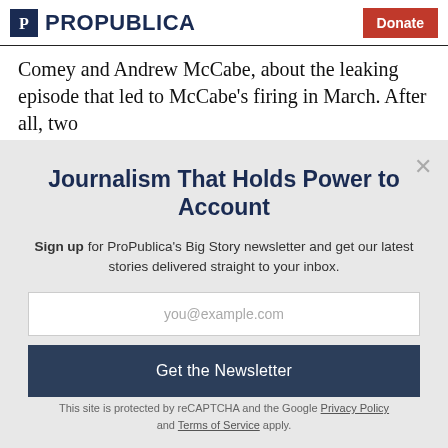ProPublica | Donate
Comey and Andrew McCabe, about the leaking episode that led to McCabe's firing in March. After all, two
Journalism That Holds Power to Account
Sign up for ProPublica's Big Story newsletter and get our latest stories delivered straight to your inbox.
you@example.com
Get the Newsletter
No thanks, I'm all set
This site is protected by reCAPTCHA and the Google Privacy Policy and Terms of Service apply.